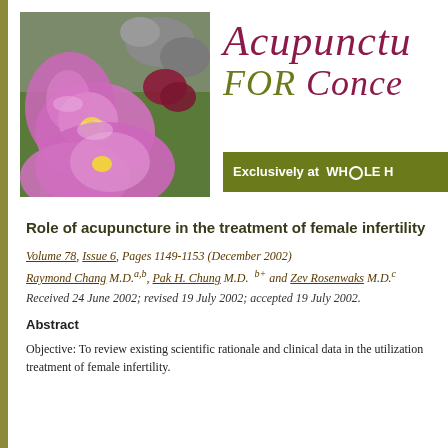[Figure (photo): Photograph of pink/purple orchid flowers with stones and bamboo in the background]
Acupuncture FOR Conception - Exclusively at WHOLE HEALTH
Role of acupuncture in the treatment of female infertility
Volume 78, Issue 6, Pages 1149-1153 (December 2002)
Raymond Chang M.D.a,b, Pak H. Chung M.D. b+ and Zev Rosenwaks M.D.c
Received 24 June 2002; revised 19 July 2002; accepted 19 July 2002.
Abstract
Objective: To review existing scientific rationale and clinical data in the utilization treatment of female infertility.